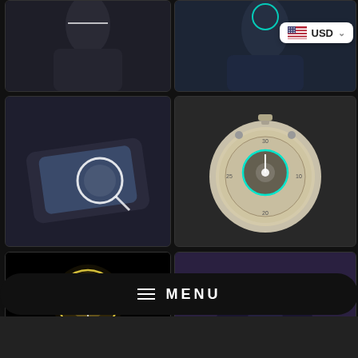[Figure (screenshot): App feature grid showing Life reminder, Message reminder, Find the phone, Stopwatch, Brightness, and Camera features with icons on dark backgrounds]
Life reminder
Message rem...
Find the phone
Stopwatch
MENU